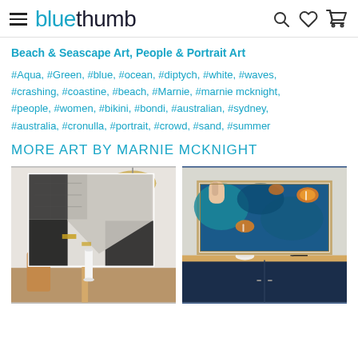bluethumb
Beach & Seascape Art, People & Portrait Art
#Aqua, #Green, #blue, #ocean, #diptych, #white, #waves, #crashing, #coastine, #beach, #Marnie, #marnie mcknight, #people, #women, #bikini, #bondi, #australian, #sydney, #australia, #cronulla, #portrait, #crowd, #sand, #summer
MORE ART BY MARNIE MCKNIGHT
[Figure (photo): Black and white abstract painting with gold accents displayed on a white wall above a wooden dining table, with a rattan pendant light]
[Figure (photo): Colorful blue teal and orange painting displayed in a frame on a dark navy blue sideboard/cabinet]